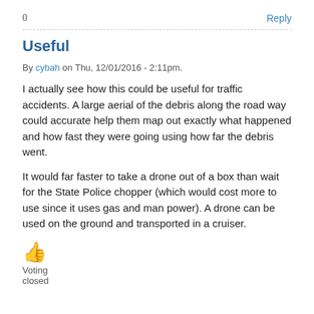0
Reply
Useful
By cybah on Thu, 12/01/2016 - 2:11pm.
I actually see how this could be useful for traffic accidents. A large aerial of the debris along the road way could accurate help them map out exactly what happened and how fast they were going using how far the debris went.
It would far faster to take a drone out of a box than wait for the State Police chopper (which would cost more to use since it uses gas and man power). A drone can be used on the ground and transported in a cruiser.
Voting
closed